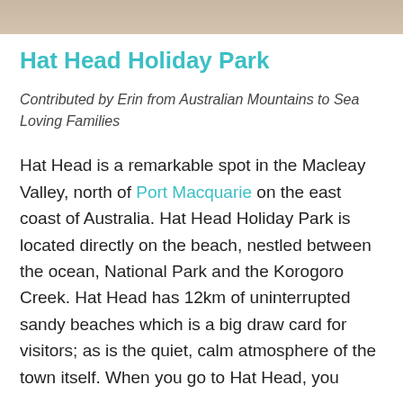[Figure (photo): Partial photo strip at top of page, showing a sandy/earthy colored background, likely a beach or outdoor scene.]
Hat Head Holiday Park
Contributed by Erin from Australian Mountains to Sea Loving Families
Hat Head is a remarkable spot in the Macleay Valley, north of Port Macquarie on the east coast of Australia. Hat Head Holiday Park is located directly on the beach, nestled between the ocean, National Park and the Korogoro Creek. Hat Head has 12km of uninterrupted sandy beaches which is a big draw card for visitors; as is the quiet, calm atmosphere of the town itself. When you go to Hat Head, you